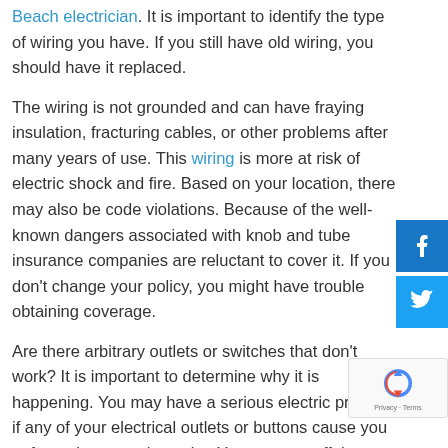Beach electrician. It is important to identify the type of wiring you have. If you still have old wiring, you should have it replaced.
The wiring is not grounded and can have fraying insulation, fracturing cables, or other problems after many years of use. This wiring is more at risk of electric shock and fire. Based on your location, there may also be code violations. Because of the well-known dangers associated with knob and tube insurance companies are reluctant to cover it. If you don't change your policy, you might have trouble obtaining coverage.
Are there arbitrary outlets or switches that don't work? It is important to determine why it is happening. You may have a serious electric problem if any of your electrical outlets or buttons cause you to fume, hur or emit smoke. You can turn off the power at the junction box and call an electrician to help.
[Figure (other): Facebook and Twitter social share buttons (blue squares with white icons)]
[Figure (other): reCAPTCHA logo with Privacy and Terms text]